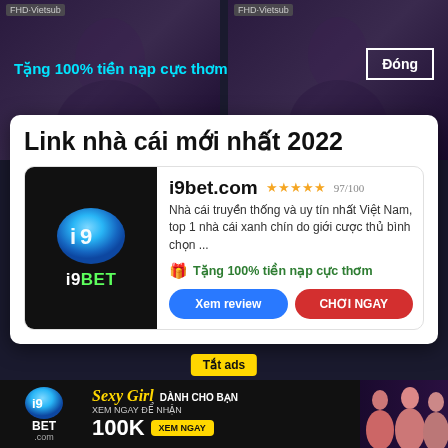[Figure (screenshot): Dark background with two blurred video thumbnail images side by side, each with FHD-Vietsub badge]
Tặng 100% tiền nạp cực thơm
Đóng
Link nhà cái mới nhất 2022
[Figure (logo): i9BET logo - blue glowing i9 symbol with i9BET text on black background]
i9bet.com ★★★★★ 97/100
Nhà cái truyền thống và uy tín nhất Việt Nam, top 1 nhà cái xanh chín do giới cược thủ bình chọn ...
🎁 Tặng 100% tiền nạp cực thơm
Xem review
CHƠI NGAY
Tắt ads
[Figure (infographic): i9BET bottom banner advertisement with Sexy Girl promotion, 100K reward, and XEM NGAY button]